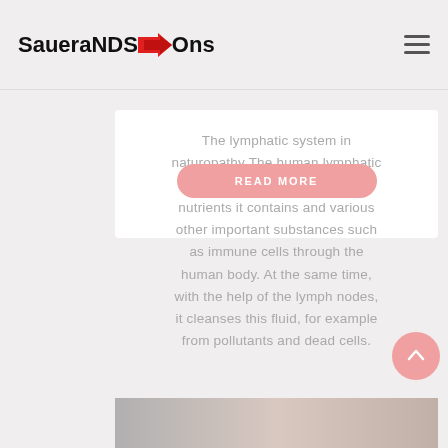SaueraNDS→Ons
The lymphatic system in naturopathy The human lymphatic system transports fluid, the nutrients it contains and various other important substances such as immune cells through the human body. At the same time, with the help of the lymph nodes, it cleanses this fluid, for example from pollutants and dead cells.
READ MORE
[Figure (photo): Partial bottom strip image, likely a health/medical photo]